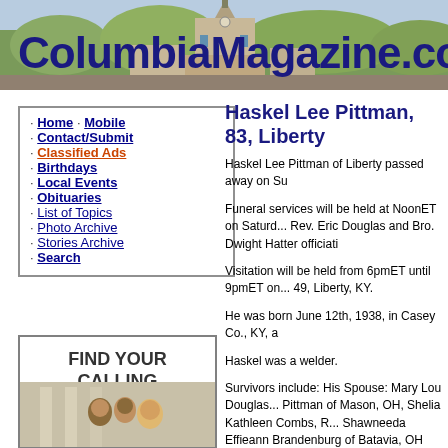[Figure (photo): ColumbiaMagazine.com website header banner with town photo backdrop showing a church steeple and trees, with the site logo text in dark navy blue large bold font]
· Home · Mobile
· Contact/Submit
· Classified Ads
· Birthdays
· Local Events
· Obituaries
· List of Topics
· Photo Archive
· Stories Archive
· Search
[Figure (photo): Advertisement box reading FIND YOUR CALLING with photo of smiling students]
Haskel Lee Pittman, 83, Liberty
Haskel Lee Pittman of Liberty passed away on Su
Funeral services will be held at NoonET on Saturd... Rev. Eric Douglas and Bro. Dwight Hatter officiati
Visitation will be held from 6pmET until 9pmET on... 49, Liberty, KY.
He was born June 12th, 1938, in Casey Co., KY, a
Haskel was a welder.
Survivors include: His Spouse: Mary Lou Douglas... Pittman of Mason, OH, Shelia Kathleen Combs, R... Shawneeda Effieann Brandenburg of Batavia, OH
Preceding him in death besides his parents Three... Corbitt, James, Lewis, Sylvanus and Ollie Pittman
Rortle Funeral Home is in charge of arrangements